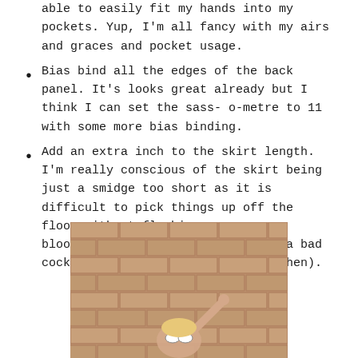able to easily fit my hands into my pockets. Yup, I'm all fancy with my airs and graces and pocket usage.
Bias bind all the edges of the back panel. It's looks great already but I think I can set the sass-o-metre to 11 with some more bias binding.
Add an extra inch to the skirt length. I'm really conscious of the skirt being just a smidge too short as it is difficult to pick things up off the floor without flashing sum ov me bloomers (I really hope there was a bad cockney accent in your head just then).
[Figure (photo): Person in sunglasses with arm raised in front of a brick wall]